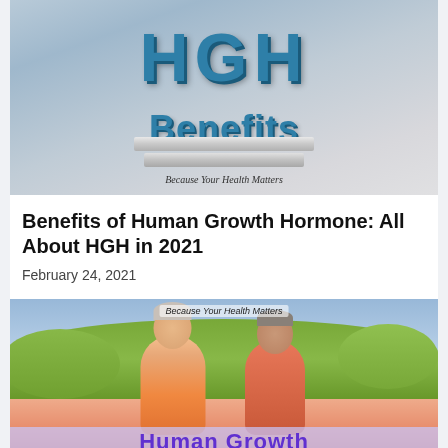[Figure (illustration): HGH Benefits banner image with large blue 3D 'HGH' lettering above 'Benefits' text on marble blocks, tagline 'Because Your Health Matters']
Benefits of Human Growth Hormone: All About HGH in 2021
February 24, 2021
[Figure (photo): Elderly couple facing each other outdoors with trees in background, 'Because Your Health Matters' tagline at top, 'Human Growth' text at bottom in purple]